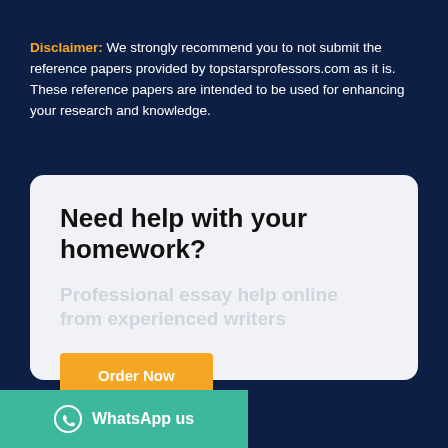Disclaimer: We strongly recommend you to not submit the reference papers provided by topstarsprofessors.com as it is. These reference papers are intended to be used for enhancing your research and knowledge.
Need help with your homework?
Professional essay help online from experienced writers
Order Now
WhatsApp us